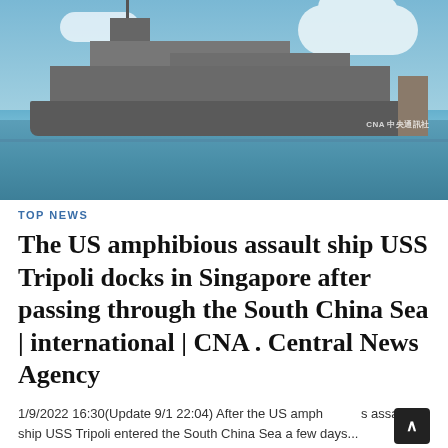[Figure (photo): USS Tripoli amphibious assault ship docked at a pier, with blue sky, white clouds, and calm sea water in the background. CNA (中央通訊社) watermark in lower right.]
TOP NEWS
The US amphibious assault ship USS Tripoli docks in Singapore after passing through the South China Sea | international | CNA . Central News Agency
1/9/2022 16:30(Update 9/1 22:04) After the US amphibious assault ship USS Tripoli entered the South China Sea a few days...